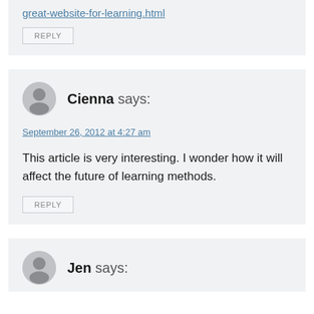great-website-for-learning.html
REPLY
Cienna says:
September 26, 2012 at 4:27 am
This article is very interesting. I wonder how it will affect the future of learning methods.
REPLY
Jen says: